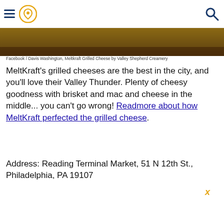Navigation header with hamburger menu, location pin icon, and search icon
[Figure (photo): Partial image of grilled cheese food, dark brown tones, cropped]
Facebook / Davis Washington, Meltkraft Grilled Cheese by Valley Shepherd Creamery
MeltKraft's grilled cheeses are the best in the city, and you'll love their Valley Thunder. Plenty of cheesy goodness with brisket and mac and cheese in the middle... you can't go wrong! Readmore about how MeltKraft perfected the grilled cheese.
Address: Reading Terminal Market, 51 N 12th St., Philadelphia, PA 19107